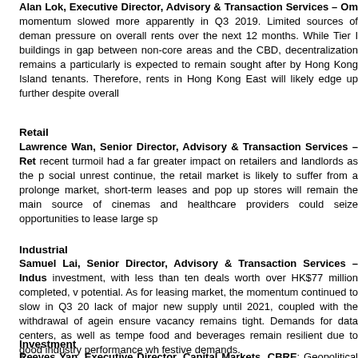Alan Lok, Executive Director, Advisory & Transaction Services – Om: momentum slowed more apparently in Q3 2019. Limited sources of demand pressure on overall rents over the next 12 months. While Tier I buildings in gap between non-core areas and the CBD, decentralization remains a particularly is expected to remain sought after by Hong Kong Island tenants. Therefore, rents in Hong Kong East will likely edge up further despite overall
Retail
Lawrence Wan, Senior Director, Advisory & Transaction Services – Ret: recent turmoil had a far greater impact on retailers and landlords as the social unrest continue, the retail market is likely to suffer from a prolonge market, short-term leases and pop up stores will remain the main source of cinemas and healthcare providers could seize opportunities to lease large sp
Industrial
Samuel Lai, Senior Director, Advisory & Transaction Services – Indus: investment, with less than ten deals worth over HK$77 million completed, v potential. As for leasing market, the momentum continued to slow in Q3 20 lack of major new supply until 2021, coupled with the withdrawal of agein ensure vacancy remains tight. Demands for data centers, as well as tempe food and beverages remain resilient due to good industry performance wh festive demands.
Investment
Reeves Yan, Executive Director, Capital Markets, CBRE: Geopolitical ten